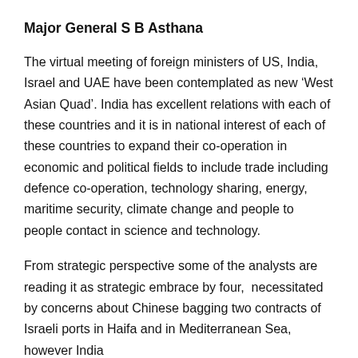Major General S B Asthana
The virtual meeting of foreign ministers of US, India, Israel and UAE have been contemplated as new ‘West Asian Quad’. India has excellent relations with each of these countries and it is in national interest of each of these countries to expand their co-operation in economic and political fields to include trade including defence co-operation, technology sharing, energy, maritime security, climate change and people to people contact in science and technology.
From strategic perspective some of the analysts are reading it as strategic embrace by four,  necessitated by concerns about Chinese bagging two contracts of Israeli ports in Haifa and in Mediterranean Sea, however India